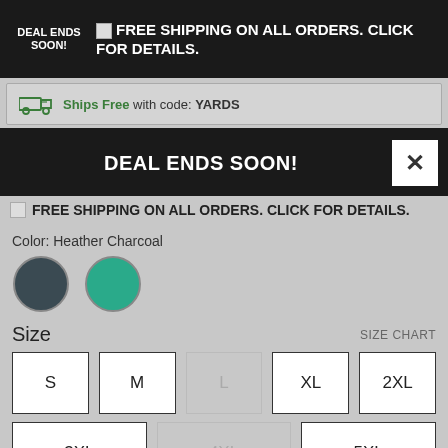DEAL ENDS SOON! FREE SHIPPING ON ALL ORDERS. CLICK FOR DETAILS.
Ships Free with code: YARDS
DEAL ENDS SOON!
FREE SHIPPING ON ALL ORDERS. CLICK FOR DETAILS.
Color: Heather Charcoal
Size
SIZE CHART
S
M
L
XL
2XL
3XL
4XL
5XL
Quantity
1
Add to Cart